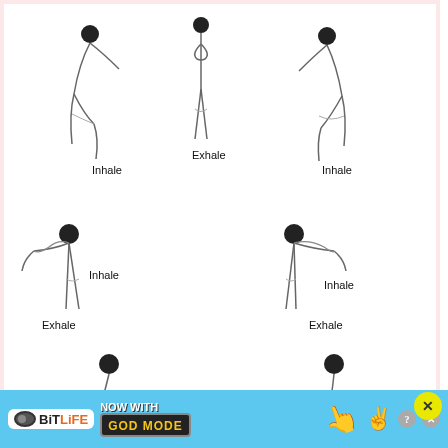[Figure (illustration): Sun salutation yoga sequence diagram showing multiple poses with breathing cues: Inhale (backbend), Exhale (standing), Inhale (side bend right), Exhale (forward fold left), Inhale (forward fold right), Exhale (side bend right lower), Inhale (lunge left), Inhale (lunge right), Exhale (downward dog left), Hold (plank right), Inhale (cobra left), Exhale (prone right). Line drawings of a person in various yoga poses arranged in a grid.]
[Figure (screenshot): Advertisement banner for BitLife game with text 'NOW WITH GOD MODE' on a blue background with cartoon hand pointing and game characters.]